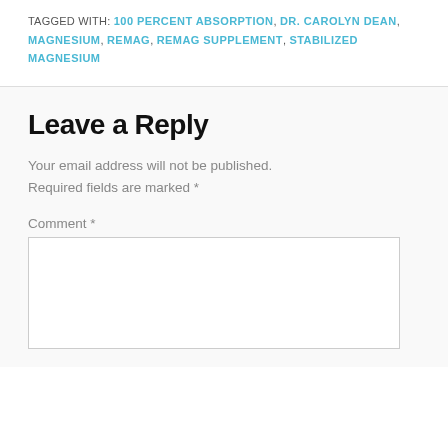TAGGED WITH: 100 PERCENT ABSORPTION, DR. CAROLYN DEAN, MAGNESIUM, REMAG, REMAG SUPPLEMENT, STABILIZED MAGNESIUM
Leave a Reply
Your email address will not be published. Required fields are marked *
Comment *